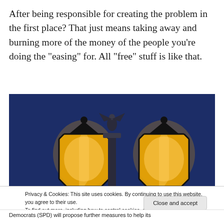After being responsible for creating the problem in the first place? That just means taking away and burning more of the money of the people you're doing the "easing" for. All "free" stuff is like that.
[Figure (photo): Night photograph of two large ornate golden street lanterns with a golden statue (Victoria column or similar) in the background against a dark blue night sky.]
Privacy & Cookies: This site uses cookies. By continuing to use this website, you agree to their use.
To find out more, including how to control cookies, see here: Cookie Policy
Close and accept
Democrats (SPD) will propose further measures to help its